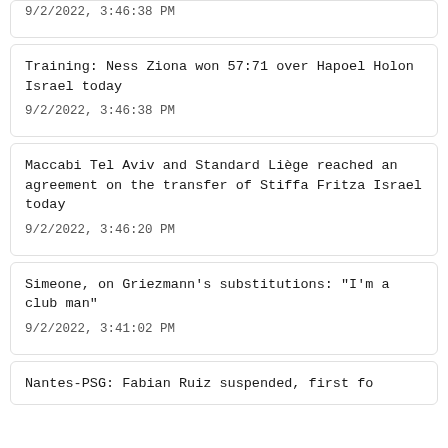9/2/2022, 3:46:38 PM (partial card top)
Training: Ness Ziona won 57:71 over Hapoel Holon Israel today
9/2/2022, 3:46:38 PM
Maccabi Tel Aviv and Standard Liège reached an agreement on the transfer of Stiffa Fritza Israel today
9/2/2022, 3:46:20 PM
Simeone, on Griezmann's substitutions: "I'm a club man"
9/2/2022, 3:41:02 PM
Nantes-PSG: Fabian Ruiz suspended, first fo...